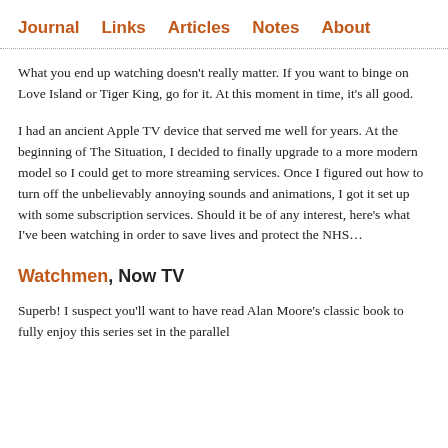Journal   Links   Articles   Notes   About
What you end up watching doesn't really matter. If you want to binge on Love Island or Tiger King, go for it. At this moment in time, it's all good.
I had an ancient Apple TV device that served me well for years. At the beginning of The Situation, I decided to finally upgrade to a more modern model so I could get to more streaming services. Once I figured out how to turn off the unbelievably annoying sounds and animations, I got it set up with some subscription services. Should it be of any interest, here's what I've been watching in order to save lives and protect the NHS…
Watchmen, Now TV
Superb! I suspect you'll want to have read Alan Moore's classic book to fully enjoy this series set in the parallel